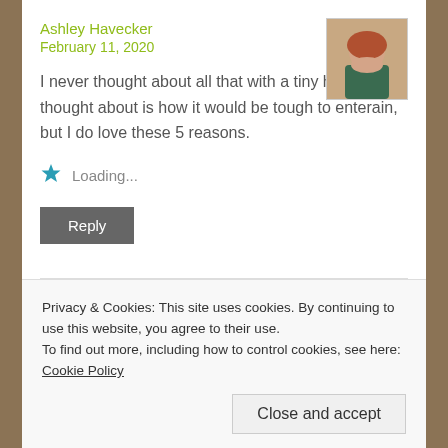Ashley Havecker
February 11, 2020
[Figure (photo): Profile photo of Ashley Havecker, a woman with reddish-brown hair, wearing a teal top]
I never thought about all that with a tiny home. All I thought about is how it would be tough to enterain, but I do love these 5 reasons.
Loading...
Reply
Olivia
February 11, 2020
[Figure (photo): Profile photo of Olivia, a woman with curly hair, smiling, outdoor background]
Privacy & Cookies: This site uses cookies. By continuing to use this website, you agree to their use.
To find out more, including how to control cookies, see here: Cookie Policy
Close and accept